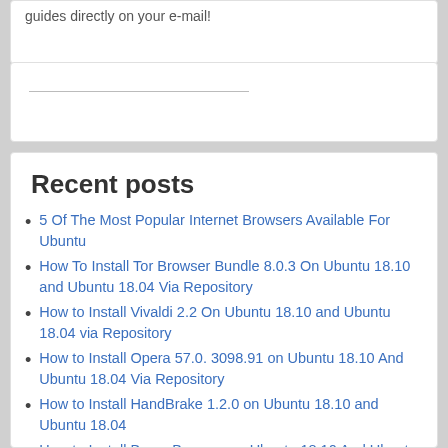guides directly on your e-mail!
Recent posts
5 Of The Most Popular Internet Browsers Available For Ubuntu
How To Install Tor Browser Bundle 8.0.3 On Ubuntu 18.10 and Ubuntu 18.04 Via Repository
How to Install Vivaldi 2.2 On Ubuntu 18.10 and Ubuntu 18.04 via Repository
How to Install Opera 57.0. 3098.91 on Ubuntu 18.10 And Ubuntu 18.04 Via Repository
How to Install HandBrake 1.2.0 on Ubuntu 18.10 and Ubuntu 18.04
How to Install Brave Browser on Ubuntu 18.10 And Ubuntu 18.04
How To Install Snap Packages and Use the Snap Package Manager Like A Ninja